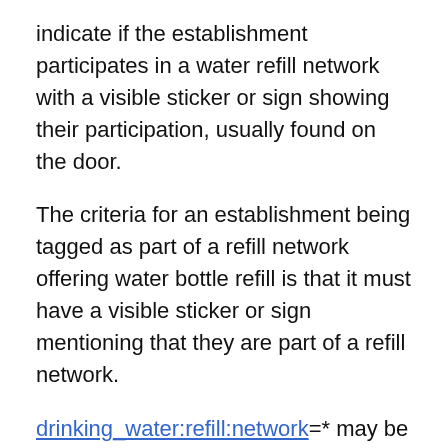indicate if the establishment participates in a water refill network with a visible sticker or sign showing their participation, usually found on the door.
The criteria for an establishment being tagged as part of a refill network offering water bottle refill is that it must have a visible sticker or sign mentioning that they are part of a refill network.
drinking_water:refill:network=* may be used to indicate the name of the network which the establishment belongs to. If an establishment belongs to multiple networks, the names should be listed separated by semicolons. drinking_water:refill:network = network 1;network 2;network 3
A restaurant where the server fills up your bottle based on his or her mood or on a discretionary basis should not be